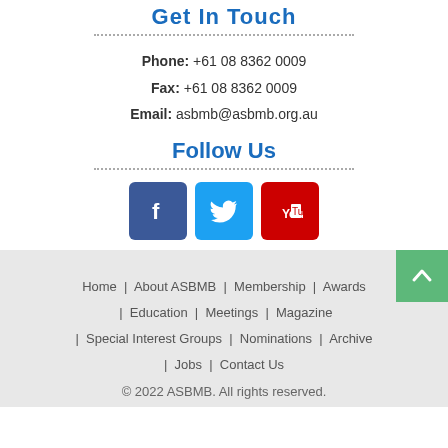Get In Touch
Phone: +61 08 8362 0009
Fax: +61 08 8362 0009
Email: asbmb@asbmb.org.au
Follow Us
[Figure (illustration): Social media icons: Facebook (blue), Twitter (light blue), YouTube (red)]
Home | About ASBMB | Membership | Awards | Education | Meetings | Magazine | Special Interest Groups | Nominations | Archive | Jobs | Contact Us
© 2022 ASBMB. All rights reserved.